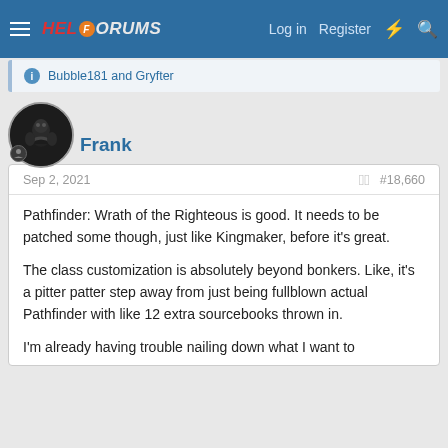HELFORUMS — Log in | Register
Bubble181 and Gryfter
Frank
Sep 2, 2021  #18,660
Pathfinder: Wrath of the Righteous is good. It needs to be patched some though, just like Kingmaker, before it's great.
The class customization is absolutely beyond bonkers. Like, it's a pitter patter step away from just being fullblown actual Pathfinder with like 12 extra sourcebooks thrown in.
I'm already having trouble nailing down what I want to